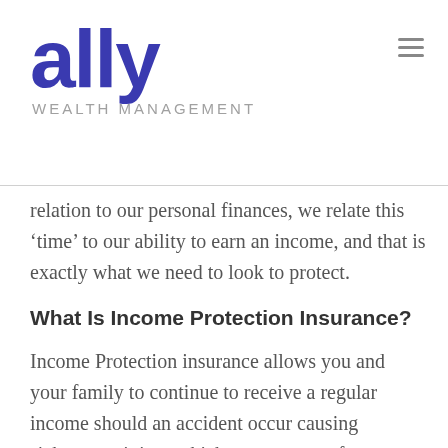[Figure (logo): Ally Wealth Management logo — 'ally' in large bold dark blue text with 'WEALTH MANAGEMENT' in light grey small caps below]
relation to our personal finances, we relate this 'time' to our ability to earn an income, and that is exactly what we need to look to protect.
What Is Income Protection Insurance?
Income Protection insurance allows you and your family to continue to receive a regular income should an accident occur causing sickness or injury which prevents you from being able to work. Income Protection